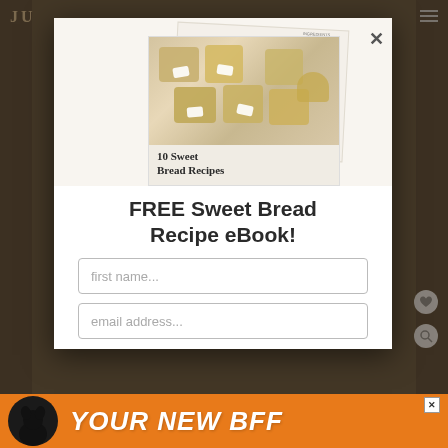[Figure (screenshot): Modal popup overlay on a food blog website. Shows a booklet image of '10 Sweet Bread Recipes' with mini bread loaves photo, a headline 'FREE Sweet Bread Recipe eBook!', input fields for first name and email address, and a close X button. Background shows a dimmed food blog page. Bottom has an orange advertisement banner reading 'YOUR NEW BFF' with a dog image.]
FREE Sweet Bread Recipe eBook!
first name...
email address...
YOUR NEW BFF